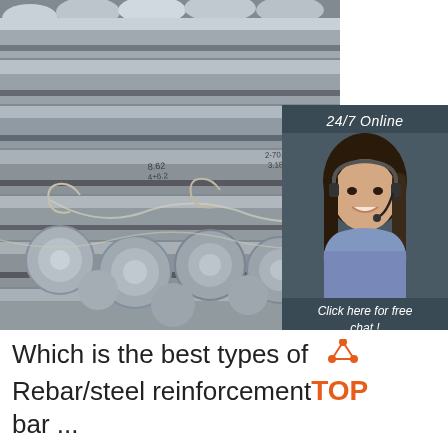[Figure (photo): Bundled steel reinforcement bars (rebar) stacked together, metallic gray color, labeled with handwritten tags]
[Figure (photo): Customer service agent, young woman with headset, smiling, with '24/7 Online' header and 'Click here for free chat!' and 'QUOTATION' button overlay on dark teal background]
Which is the best types of Rebar/steel reinforcement bar ...